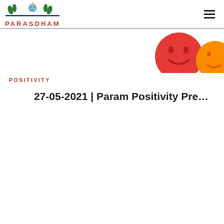PARASDHAM
[Figure (illustration): Emoji faces partially visible on the right side - a red smiling face and an orange emoji]
POSITIVITY
27-05-2021 | Param Positivity Pre...